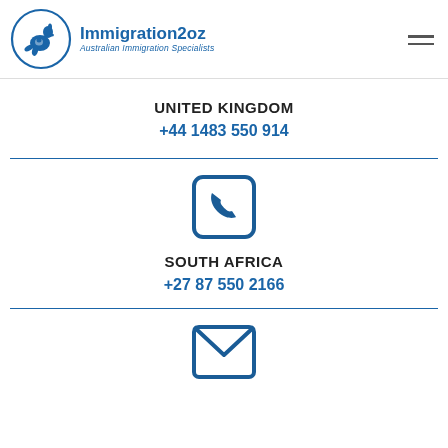Immigration2oz Australian Immigration Specialists
UNITED KINGDOM
+44 1483 550 914
[Figure (illustration): Phone handset icon in a rounded square, blue outline style]
SOUTH AFRICA
+27 87 550 2166
[Figure (illustration): Email envelope icon, blue outline style]